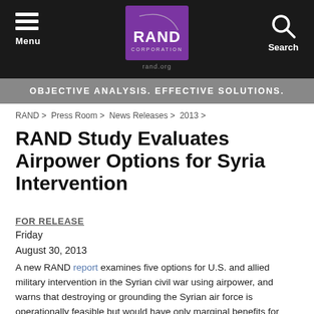[Figure (logo): RAND Corporation logo with purple background and white text, navigation bar with hamburger menu and search icon]
OBJECTIVE ANALYSIS. EFFECTIVE SOLUTIONS.
RAND > Press Room > News Releases > 2013 >
RAND Study Evaluates Airpower Options for Syria Intervention
FOR RELEASE
Friday
August 30, 2013
A new RAND report examines five options for U.S. and allied military intervention in the Syrian civil war using airpower, and warns that destroying or grounding the Syrian air force is operationally feasible but would have only marginal benefits for protecting civilians.